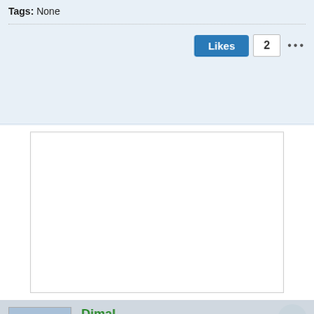Tags: None
Likes 2 ...
[Figure (other): Advertisement/empty white box]
Dimal
Mal
Join Date: Oct 04  Posts: 18115  Warwick, QLD
Send PM
15 April 2016, 07:37 PM  #2
Looks beaut Matt... 😎

Lots of very happy coffee time ahead of you now mate... 😊

Mal.